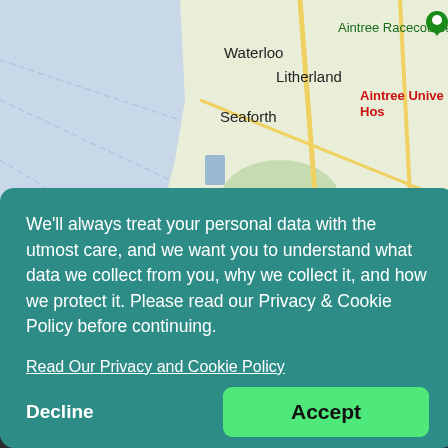[Figure (map): Google Maps screenshot showing the Liverpool area, UK. Visible locations include Waterloo, Litherland, Seaforth, Aintree Racecourse (with green pin), Aintree University Hospital (in red), Walton Hall Park, and Anfield. Roads A565 and A59 are labeled. The left side shows water (coastline/estuary). The map is partially obscured by a privacy consent modal dialog.]
We'll always treat your personal data with the utmost care, and we want you to understand what data we collect from you, why we collect it, and how we protect it. Please read our Privacy & Cookie Policy before continuing.
Read Our Privacy and Cookie Policy
Decline
Accept